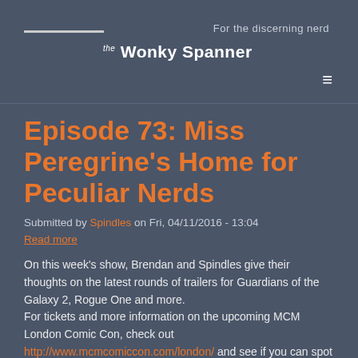The Wonky Spanner — For the discerning nerd
Episode 73: Miss Peregrine's Home for Peculiar Nerds
Submitted by Spindles on Fri, 04/11/2016 - 13:04
Read more
On this week's show, Brendan and Spindles give their thoughts on the latest rounds of trailers for Guardians of the Galaxy 2, Rogue One and more.
For tickets and more information on the upcoming MCM London Comic Con, check out http://www.mcmcomiccon.com/london/ and see if you can spot Spindles there.
And for BristolCon have a look at http://www.bristolcon.org/ and see if you can manage to track down Brendan at the event.
Episode 58: The Nerd A...